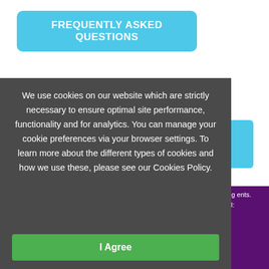FREQUENTLY ASKED QUESTIONS
We use cookies on our website which are strictly necessary to ensure optimal site performance, functionality and for analytics. You can manage your cookie preferences via your browser settings. To learn more about the different types of cookies and how we use these, please see our Cookies Policy.
I Agree
roperty Auctions South West is a trading ents. Head Office 2 Cotton 95 275 691 Email: